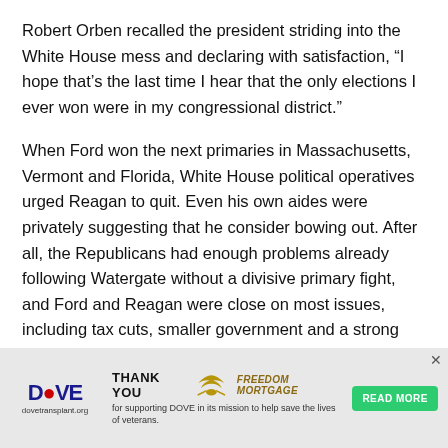Robert Orben recalled the president striding into the White House mess and declaring with satisfaction, “I hope that’s the last time I hear that the only elections I ever won were in my congressional district.”
When Ford won the next primaries in Massachusetts, Vermont and Florida, White House political operatives urged Reagan to quit. Even his own aides were privately suggesting that he consider bowing out. After all, the Republicans had enough problems already following Watergate without a divisive primary fight, and Ford and Reagan were close on most issues, including tax cuts, smaller government and a strong national defense. The entreaties only served to stir Reagan’s
[Figure (other): Advertisement banner for DOVE (dovetransplant.org) thanking Freedom Mortgage for supporting DOVE in its mission to help save the lives of veterans. Includes a Read More button.]